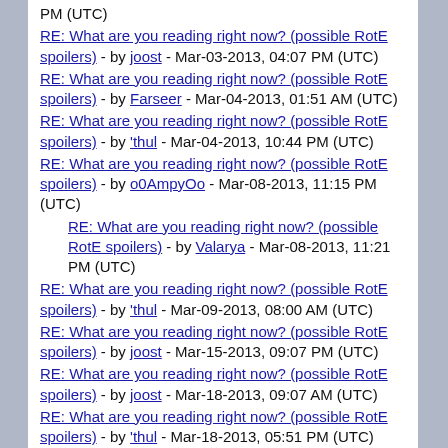PM (UTC)
RE: What are you reading right now? (possible RotE spoilers) - by joost - Mar-03-2013, 04:07 PM (UTC)
RE: What are you reading right now? (possible RotE spoilers) - by Farseer - Mar-04-2013, 01:51 AM (UTC)
RE: What are you reading right now? (possible RotE spoilers) - by 'thul - Mar-04-2013, 10:44 PM (UTC)
RE: What are you reading right now? (possible RotE spoilers) - by o0AmpyOo - Mar-08-2013, 11:15 PM (UTC)
RE: What are you reading right now? (possible RotE spoilers) - by Valarya - Mar-08-2013, 11:21 PM (UTC)
RE: What are you reading right now? (possible RotE spoilers) - by 'thul - Mar-09-2013, 08:00 AM (UTC)
RE: What are you reading right now? (possible RotE spoilers) - by joost - Mar-15-2013, 09:07 PM (UTC)
RE: What are you reading right now? (possible RotE spoilers) - by joost - Mar-18-2013, 09:07 AM (UTC)
RE: What are you reading right now? (possible RotE spoilers) - by 'thul - Mar-18-2013, 05:51 PM (UTC)
RE: What are you reading right now? (possible RotE spoilers) - by Valarya - Mar-18-2013, 05:59